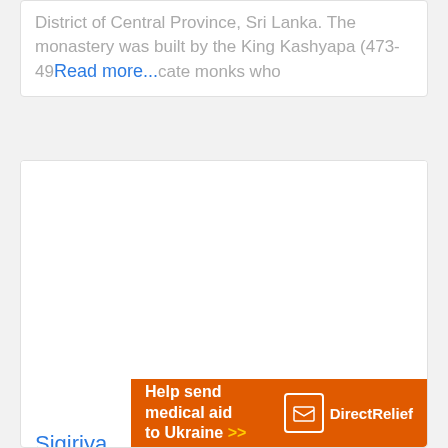District of Central Province, Sri Lanka. The monastery was built by the King Kashyapa (473-495)... to educate monks who
Read more...
[Figure (photo): White/blank image placeholder for Sigiriya photo]
Sigiriya
[Figure (other): Five star rating icons (empty/grey stars) with a heart icon on the right]
Sigiriya is one of the best tourist...
Help send medical aid to Ukraine >> DirectRelief